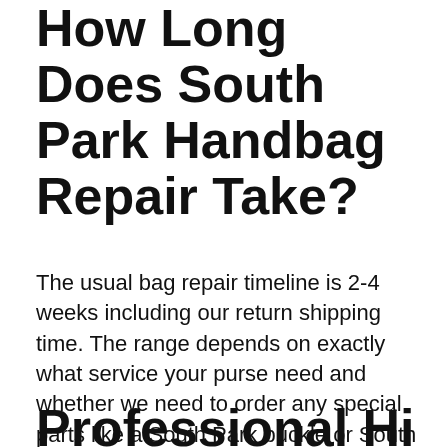How Long Does South Park Handbag Repair Take?
The usual bag repair timeline is 2-4 weeks including our return shipping time. The range depends on exactly what service your purse need and whether we need to order any special parts like a South Park buckle or South Park clasp for replacement. Once we have received your purse, our master craftsman will do a complete inspection and share the details with you.
Professional Hi...